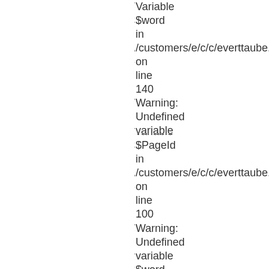Variable
$word
in
/customers/e/c/c/everttaube.info/httpd.w
on
line
140
Warning:
Undefined
variable
$PageId
in
/customers/e/c/c/everttaube.info/httpd.w
on
line
100
Warning:
Undefined
variable
$word
in
/customers/e/c/c/everttaube.info/httpd.w
on
line
140
Warning:
Undefined
variable
$PageId
in